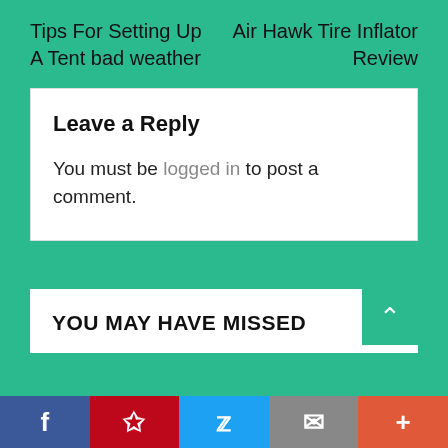Tips For Setting Up A Tent bad weather
Air Hawk Tire Inflator Review
Leave a Reply
You must be logged in to post a comment.
YOU MAY HAVE MISSED
[Figure (infographic): Social media share bar with Facebook, Pinterest, Twitter, Email, and More buttons]